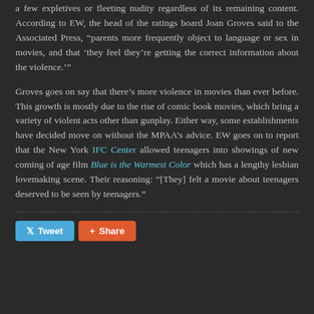a few expletives or fleeting nudity regardless of its remaining content. According to EW, the head of the ratings board Joan Groves said to the Associated Press, “parents more frequently object to language or sex in movies, and that ‘they feel they’re getting the correct information about the violence.’”
Groves goes on say that there’s more violence in movies than ever before. This growth is mostly due to the rise of comic book movies, which bring a variety of violent acts other than gunplay. Either way, some establishments have decided move on without the MPAA’s advice. EW goes on to report that the New York IFC Center allowed teenagers into showings of new coming of age film Blue is the Warmest Color which has a lengthy lesbian lovemaking scene. Their reasoning: “[They] felt a movie about teenagers deserved to be seen by teenagers.”
[Figure (other): Horizontal dashed divider line]
[Figure (other): Tweet and Share social media buttons]